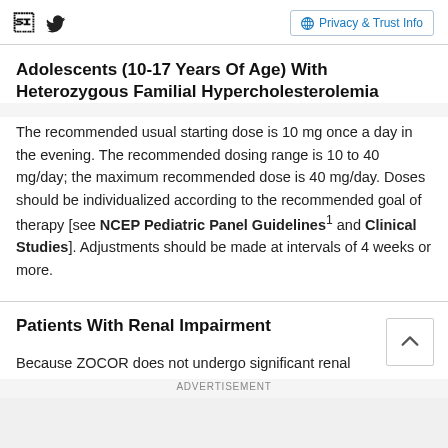Facebook Twitter Privacy & Trust Info
Adolescents (10-17 Years Of Age) With Heterozygous Familial Hypercholesterolemia
The recommended usual starting dose is 10 mg once a day in the evening. The recommended dosing range is 10 to 40 mg/day; the maximum recommended dose is 40 mg/day. Doses should be individualized according to the recommended goal of therapy [see NCEP Pediatric Panel Guidelines¹ and Clinical Studies]. Adjustments should be made at intervals of 4 weeks or more.
Patients With Renal Impairment
Because ZOCOR does not undergo significant renal
ADVERTISEMENT